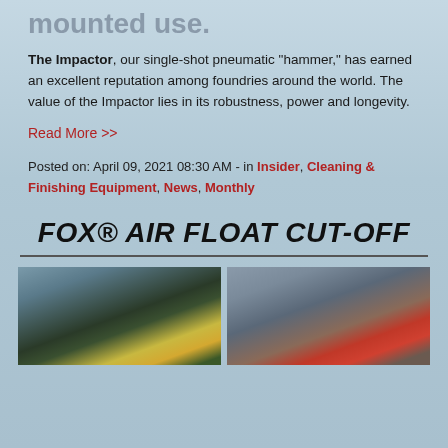both hand-held and manipulator-mounted use.
The Impactor, our single-shot pneumatic “hammer,” has earned an excellent reputation among foundries around the world. The value of the Impactor lies in its robustness, power and longevity.
Read More >>
Posted on: April 09, 2021 08:30 AM - in Insider, Cleaning & Finishing Equipment, News, Monthly
FOX® AIR FLOAT CUT-OFF
[Figure (photo): Two industrial foundry photos side by side: left shows yellow/green heavy equipment in a factory; right shows a person in a red hard hat with industrial machinery.]